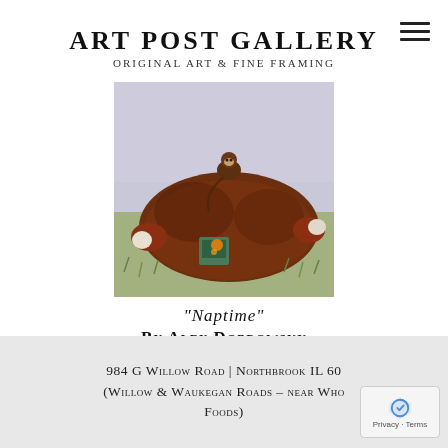Art Post Gallery
Original Art & Fine Framing
[Figure (photo): Painting titled 'Naptime' by Alex Dobrowsky depicting a large bear lying in a field with a small monkey sitting on top, and a lantern nearby]
"Naptime"
By Alex Dobrowsky
984 G Willow Road | Northbrook IL 60
(Willow & Waukegan Roads – near Who
Foods)